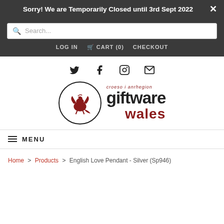Sorry! We are Temporarily Closed until 3rd Sept 2022
[Figure (screenshot): Search bar with magnifying glass icon and placeholder text 'Search...']
LOG IN   CART (0)   CHECKOUT
[Figure (logo): Social media icons: Twitter, Facebook, Instagram, Email]
[Figure (logo): Giftware Wales logo with Welsh dragon in circle and text 'croeso i anrhegion giftware wales']
MENU
Home > Products > English Love Pendant - Silver (Sp946)